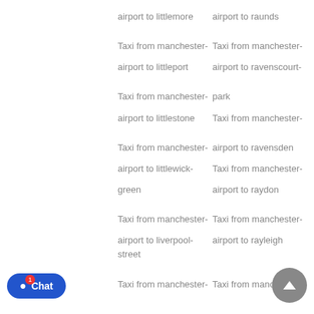airport to littlemore
airport to raunds
Taxi from manchester-airport to littleport
Taxi from manchester-airport to ravenscourt-park
Taxi from manchester-airport to littlestone
Taxi from manchester-airport to ravensden
Taxi from manchester-airport to littlewick-green
Taxi from manchester-airport to raydon
Taxi from manchester-airport to liverpool-street
airport to rayleigh
Taxi from manchester-
Taxi from manchester-